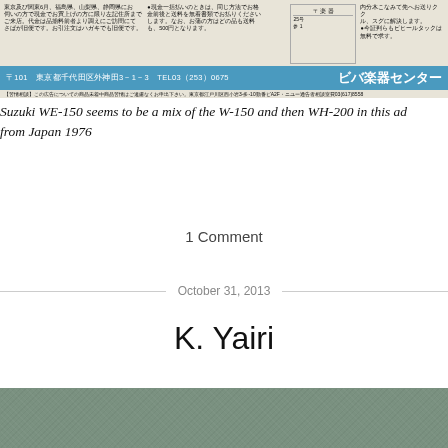[Figure (photo): Japanese musical instrument advertisement with text in Japanese. Blue bar at bottom reads: 〒101 東京都千代田区外神田3-1-3 TEL03（253）0675 ビバ楽器センター. Fine print below the blue bar.]
Suzuki WE-150 seems to be a mix of the W-150 and then WH-200 in this ad from Japan 1976
1 Comment
October 31, 2013
K. Yairi
[Figure (photo): Textured green-grey fabric or paper surface, bottom portion of page]